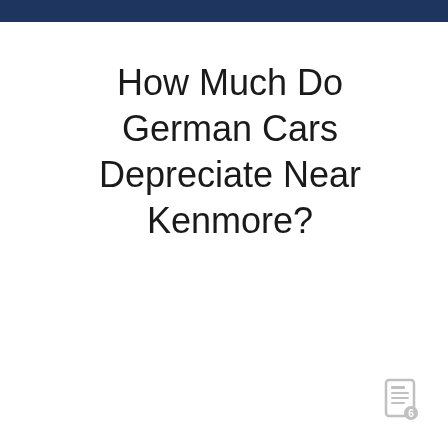How Much Do German Cars Depreciate Near Kenmore?
[Figure (logo): Small stylized logo icon in light gray at bottom right corner]